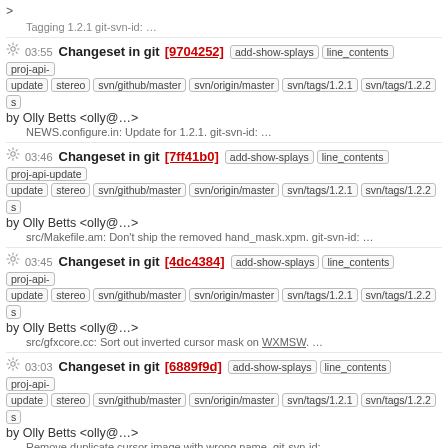>
Tagging 1.2.1 git-svn-id: …
03:55 Changeset in git [9704252] add-show-splays line_contents proj-api-update stereo svn/github/master svn/origin/master svn/tags/1.2.1 svn/tags/1.2.2 s by Olly Betts <olly@…> NEWS.configure.in: Update for 1.2.1. git-svn-id: …
03:46 Changeset in git [7ff41b0] add-show-splays line_contents proj-api-update stereo svn/github/master svn/origin/master svn/tags/1.2.1 svn/tags/1.2.2 s by Olly Betts <olly@…> src/Makefile.am: Don't ship the removed hand_mask.xpm. git-svn-id: …
03:45 Changeset in git [4dc4384] add-show-splays line_contents proj-api-update stereo svn/github/master svn/origin/master svn/tags/1.2.1 svn/tags/1.2.2 s by Olly Betts <olly@…> src/gfxcore.cc: Sort out inverted cursor mask on WXMSW. …
03:03 Changeset in git [6889f9d] add-show-splays line_contents proj-api-update stereo svn/github/master svn/origin/master svn/tags/1.2.1 svn/tags/1.2.2 s by Olly Betts <olly@…> Remove duplicate cursor image with wrong name. git-svn-id: …
00:42 Changeset in git [13da582] add-show-splays line_contents proj-api-update stereo svn/github/master svn/origin/master svn/tags/1.2.1 svn/tags/1.2.2 s by Olly Betts <olly@…> src/printer.cc: Add back svxPrintout methods GetPageInfo20 and